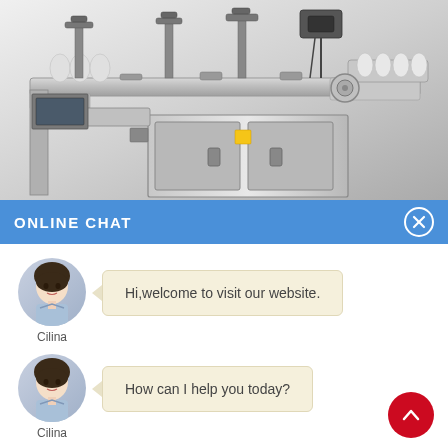[Figure (photo): Industrial labeling machine — a stainless steel conveyor-style automatic label applicator with multiple roller arms and dispensers on top, shown on a white/grey gradient background.]
ONLINE CHAT
[Figure (photo): Chat avatar: portrait of a young woman in a light blue collared shirt, circular crop. Name: Cilina.]
Hi,welcome to visit our website.
[Figure (photo): Chat avatar: portrait of a young woman in a light blue collared shirt, circular crop. Name: Cilina.]
How can I help you today?